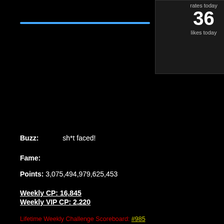rates today
36 likes today
5
6
V So Ve...
V So Ve...
Buzz: sh*t faced!
Fame:
Points: 3,075,494,979,625,453
Weekly CP: 16,845
Weekly VIP CP: 2,220
Lifetime Weekly Challenge Scoreboard: #985
Lifetime Top Achiever: #451
Lifetime Top Member: #545
Top Scores Rank: #570
fubar Legend Rank: #948
Lifetime Bling Likes: #307
Today's Bling Likes: #233
lady mo...
Randys ...
V So Ve...
V So Ve...
V So Ve...
V So Ve...
| Likes | Rates | Views | Tooltips |
| --- | --- | --- | --- |
| 36 | 29 | 14 | 25 |